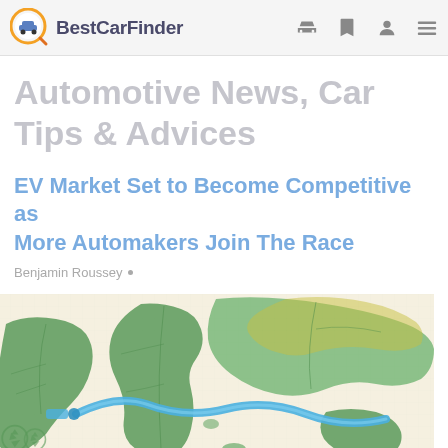BestCarFinder
Automotive News, Car Tips & Advices
EV Market Set to Become Competitive as More Automakers Join The Race
Benjamin Roussey •
[Figure (illustration): World map illustration with green leaf texture continents and a blue curved line/cable connecting regions, suggesting global EV network connectivity. Recycling symbols visible at bottom left.]